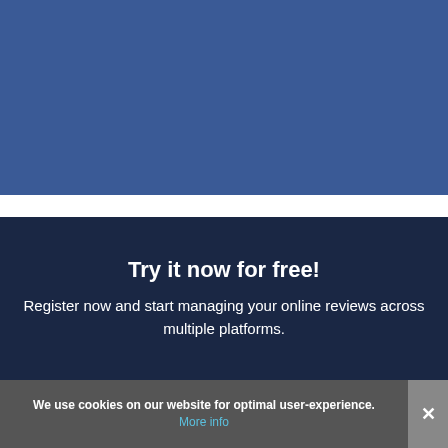[Figure (illustration): Solid medium-blue rectangle occupying the top portion of the page, representing a background image or header graphic.]
Try it now for free!
Register now and start managing your online reviews across multiple platforms.
We use cookies on our website for optimal user-experience. More info